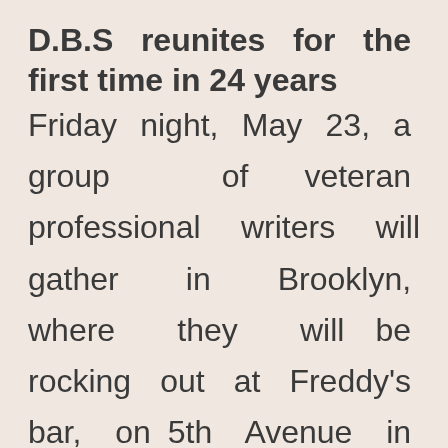D.B.S reunites for the first time in 24 years
Friday night, May 23, a group of veteran professional writers will gather in Brooklyn, where they will be rocking out at Freddy's bar, on 5th Avenue in the South Slope. The occasion is the reunion gig of